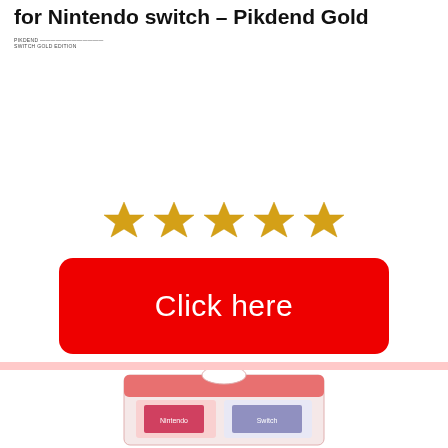for Nintendo switch – Pikdend Gold
[Figure (logo): Small Nintendo-style logo/text mark with two lines of tiny text]
[Figure (infographic): Five gold star rating icons in a row]
[Figure (infographic): Red rounded rectangle button with white text 'Click here']
[Figure (photo): Partial product box photo at bottom, pink/white Nintendo Switch accessory packaging]